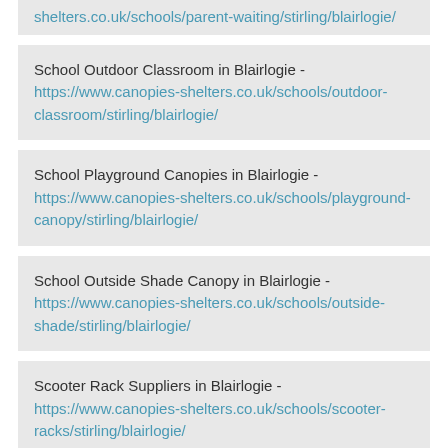shelters.co.uk/schools/parent-waiting/stirling/blairlogie/
School Outdoor Classroom in Blairlogie - https://www.canopies-shelters.co.uk/schools/outdoor-classroom/stirling/blairlogie/
School Playground Canopies in Blairlogie - https://www.canopies-shelters.co.uk/schools/playground-canopy/stirling/blairlogie/
School Outside Shade Canopy in Blairlogie - https://www.canopies-shelters.co.uk/schools/outside-shade/stirling/blairlogie/
Scooter Rack Suppliers in Blairlogie - https://www.canopies-shelters.co.uk/schools/scooter-racks/stirling/blairlogie/
Contact Us
We are able to offer you all the information you will need on our selection of functional and good-looking MUGA pitch canopy in